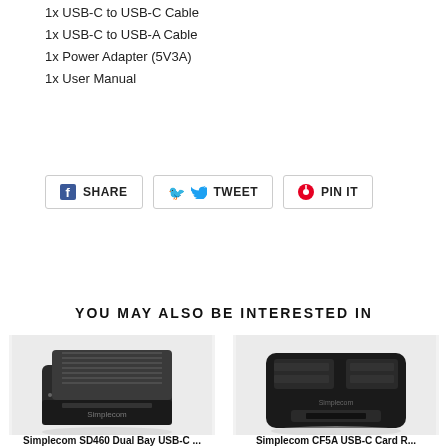1x USB-C to USB-C Cable
1x USB-C to USB-A Cable
1x Power Adapter (5V3A)
1x User Manual
SHARE  TWEET  PIN IT
YOU MAY ALSO BE INTERESTED IN
[Figure (photo): Simplecom SD460 Dual Bay USB-C docking station, black box shape]
[Figure (photo): Simplecom CF5A USB-C card reader, flat black square device with slots]
Simplecom SD460 Dual Bay USB-C ...  Simplecom CF5A USB-C Card R...